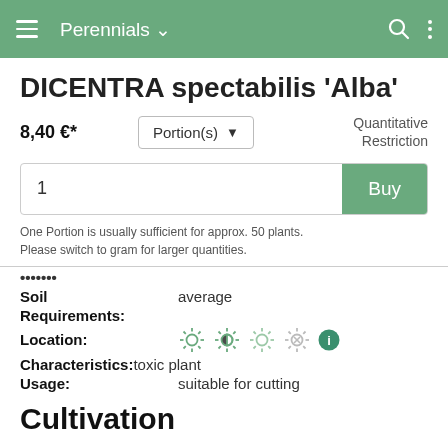Perennials
DICENTRA spectabilis 'Alba'
8,40 €*
Portion(s)
Quantitative Restriction
1
Buy
One Portion is usually sufficient for approx. 50 plants.
Please switch to gram for larger quantities.
Soil
average
Requirements:
Location:
[Figure (illustration): Four sun/shade icons indicating light requirements, plus an info icon]
Characteristics: toxic plant
Usage:
suitable for cutting
Cultivation